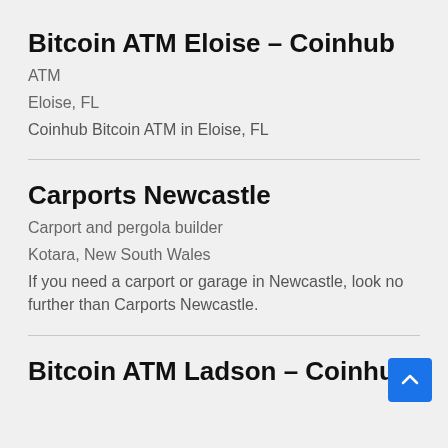Bitcoin ATM Eloise – Coinhub
ATM
Eloise, FL
Coinhub Bitcoin ATM in Eloise, FL
Carports Newcastle
Carport and pergola builder
Kotara, New South Wales
If you need a carport or garage in Newcastle, look no further than Carports Newcastle.
Bitcoin ATM Ladson – Coinhub